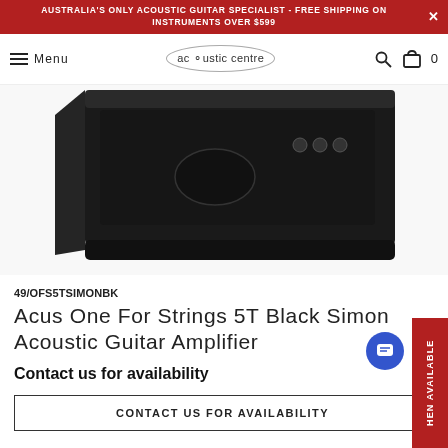AUSTRALIA'S ONLY ACOUSTIC GUITAR SPECIALIST - FREE SHIPPING ON INSTRUMENTS OVER $599
[Figure (screenshot): Navigation bar with hamburger menu, Menu text, Acoustic Centre logo in circle, search icon, and cart icon with 0 count]
[Figure (photo): Acus One For Strings 5T Black Simon acoustic guitar amplifier, black color, viewed from angle showing back/side panel with controls]
49/OFS5TSIMONBK
Acus One For Strings 5T Black Simon Acoustic Guitar Amplifier
Contact us for availability
CONTACT US FOR AVAILABILITY